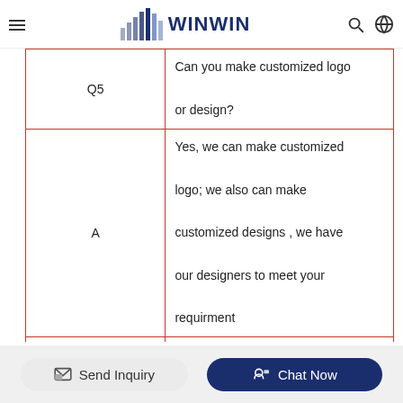WINWIN
| Label | Content |
| --- | --- |
| Q5 | Can you make customized logo or design? |
| A | Yes, we can make customized logo; we also can make customized designs , we have our designers to meet your requirment |
| Q6 | How many materials do you have? |
Send Inquiry | Chat Now